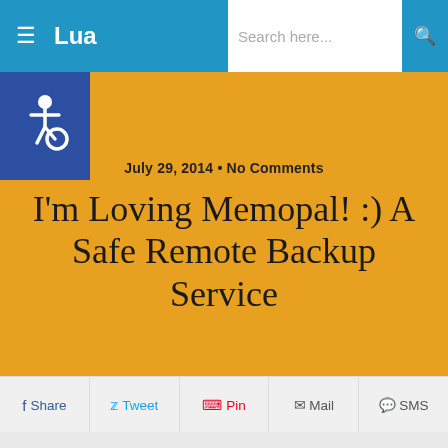Lua… | Search here...
[Figure (other): Accessibility wheelchair icon in dark blue square]
I'm Loving Memopal! :) A Safe Remote Backup Service
July 29, 2014 • No Comments
Share  Tweet  Pin  Mail  SMS
This is a sponsored post written by me on behalf of Memopal. All opinions are 100% mine.
Hi babes! 🙂 How have you been? I'm sorry, I know I still owe you some blog comments, but I'm getting caught up on work first, as my ISP has been naughty lately